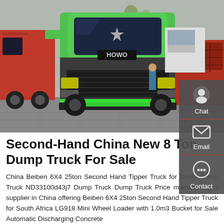[Figure (photo): Front view of a green HOWO dump truck parked in a truck yard, with red trucks visible on the left and right sides, a person standing in the background, and trees visible in the distance.]
Second-Hand China New 8 Ton Dump Truck For Sale
China Beiben 6X4 25ton Second Hand Tipper Truck for South Dump Truck ND33100d43j7 Dump Truck Dump Truck Price manufacturer / supplier in China offering Beiben 6X4 25ton Second Hand Tipper Truck for South Africa LG918 Mini Wheel Loader with 1.0m3 Bucket for Sale Automatic Discharging Concrete